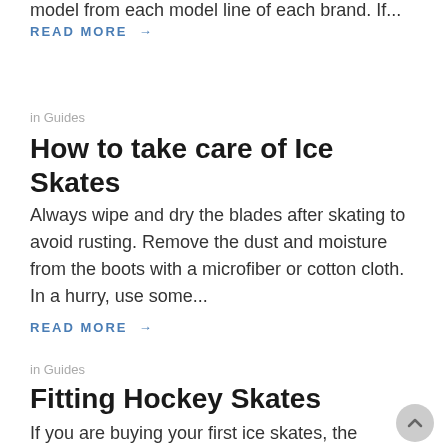model from each model line of each brand. If...
READ MORE →
in Guides
How to take care of Ice Skates
Always wipe and dry the blades after skating to avoid rusting. Remove the dust and moisture from the boots with a microfiber or cotton cloth. In a hurry, use some...
READ MORE →
in Guides
Fitting Hockey Skates
If you are buying your first ice skates, the first question you have is 'What size ice skates should I